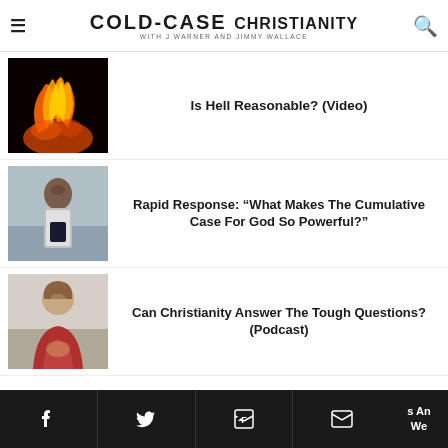COLD-CASE CHRISTIANITY with J Warner and Jimmy Wallace
[Figure (photo): Fire/flames photograph on dark background]
Is Hell Reasonable? (Video)
[Figure (photo): Older Black man in grey suit holding a book/tablet]
Rapid Response: “What Makes The Cumulative Case For God So Powerful?”
[Figure (photo): Young person with curly hair in thinking pose]
Can Christianity Answer The Tough Questions? (Podcast)
Facebook Twitter Flipboard Email share buttons